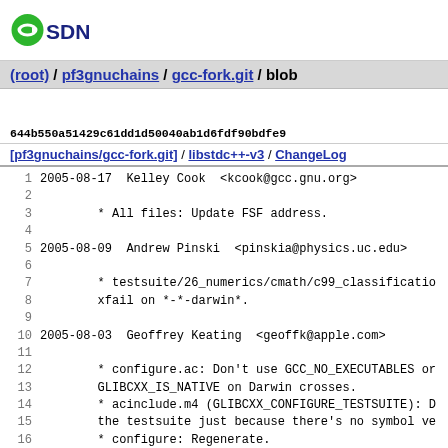[Figure (logo): OSDN logo with green circle-arrow icon and dark blue SDN text]
(root) / pf3gnuchains / gcc-fork.git / blob
644b550a51429c61dd1d50040ab1d6fdf90bdfe9
[pf3gnuchains/gcc-fork.git] / libstdc++-v3 / ChangeLog
1  2005-08-17  Kelley Cook  <kcook@gcc.gnu.org>
2
3          * All files: Update FSF address.
4
5  2005-08-09  Andrew Pinski  <pinskia@physics.uc.edu>
6
7          * testsuite/26_numerics/cmath/c99_classificatio
8          xfail on *-*-darwin*.
9
10 2005-08-03  Geoffrey Keating  <geoffk@apple.com>
11
12         * configure.ac: Don't use GCC_NO_EXECUTABLES or
13         GLIBCXX_IS_NATIVE on Darwin crosses.
14         * acinclude.m4 (GLIBCXX_CONFIGURE_TESTSUITE): D
15         the testsuite just because there's no symbol ve
16         * configure: Regenerate.
17
18         * acinclude.m4 (GLIBCXX_CHECK_SETRLIMIT_ancilli